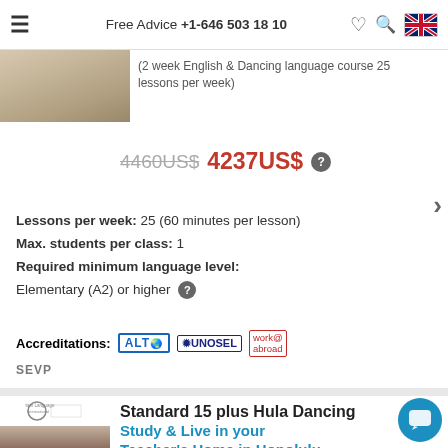Free Advice +1-646 503 18 10
(2 week English & Dancing language course 25 lessons per week)
4460US$ 4237US$
Lessons per week: 25 (60 minutes per lesson)
Max. students per class: 1
Required minimum language level:
Elementary (A2) or higher
Accreditations: ALTO UNOSEL work abroad SEVP
Standard 15 plus Hula Dancing
Study & Live in your Teacher's Home in Honolulu
Standard 15 plus Hula Dancing
(2 week English & Dancing language course 15 lessons per week)